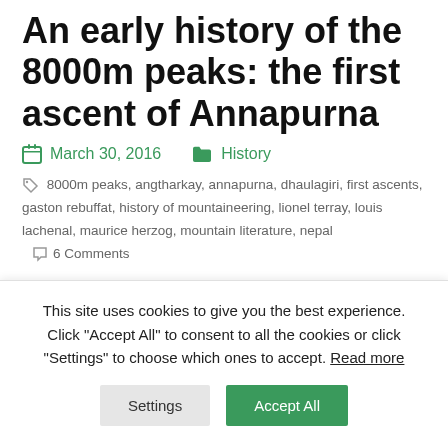An early history of the 8000m peaks: the first ascent of Annapurna
March 30, 2016   History
8000m peaks, angtharkay, annapurna, dhaulagiri, first ascents, gaston rebuffat, history of mountaineering, lionel terray, louis lachenal, maurice herzog, mountain literature, nepal   6 Comments
This is the third in a short series of posts about the early history of the 8000m peaks. In the first
This site uses cookies to give you the best experience. Click "Accept All" to consent to all the cookies or click "Settings" to choose which ones to accept. Read more